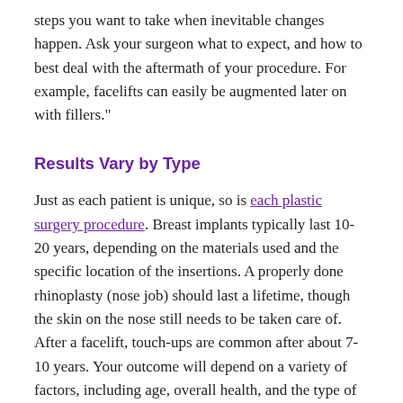steps you want to take when inevitable changes happen. Ask your surgeon what to expect, and how to best deal with the aftermath of your procedure. For example, facelifts can easily be augmented later on with fillers."
Results Vary by Type
Just as each patient is unique, so is each plastic surgery procedure. Breast implants typically last 10-20 years, depending on the materials used and the specific location of the insertions. A properly done rhinoplasty (nose job) should last a lifetime, though the skin on the nose still needs to be taken care of. After a facelift, touch-ups are common after about 7-10 years. Your outcome will depend on a variety of factors, including age, overall health, and the type of procedures done.
Care for Yourself Properly
Whether you've had breast augmentation, a facelift,